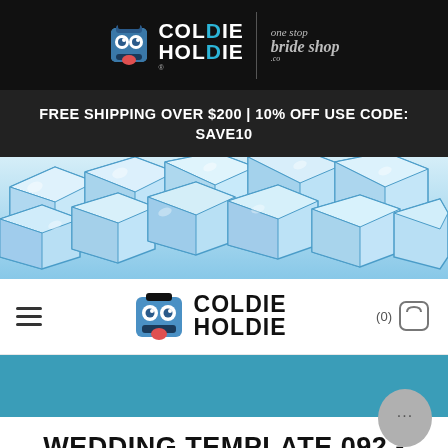[Figure (logo): Coldie Holdie logo with zombie character on dark background, alongside One Stop Bride Shop script logo]
FREE SHIPPING OVER $200 | 10% OFF USE CODE: SAVE10
[Figure (illustration): Scattered cartoon ice cubes illustration with light blue colors]
[Figure (logo): Coldie Holdie zombie logo with hamburger menu icon and cart (0) in navigation bar]
[Figure (other): Solid teal/steel blue banner strip]
WEDDING TEMPLATE 092 - NEOPRENE BOTTLE